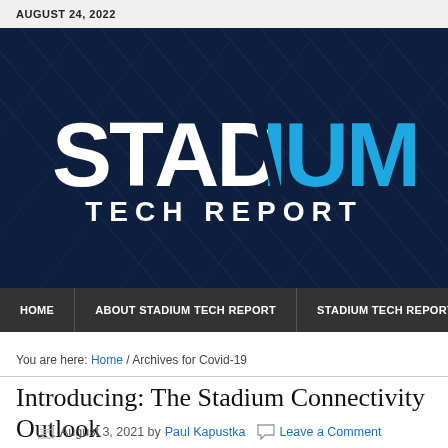AUGUST 24, 2022
[Figure (logo): Stadium Tech Report logo on dark blue background with fabric texture. White 'STAD' and light blue 'IUM' in large bold font, with 'TECH REPORT' in white below.]
HOME | ABOUT STADIUM TECH REPORT | STADIUM TECH REPORT PODC
You are here: Home / Archives for Covid-19
Introducing: The Stadium Connectivity Outlook
August 3, 2021 by Paul Kapustka  Leave a Comment